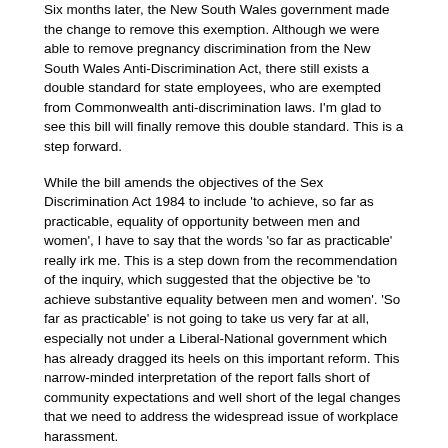Six months later, the New South Wales government made the change to remove this exemption. Although we were able to remove pregnancy discrimination from the New South Wales Anti-Discrimination Act, there still exists a double standard for state employees, who are exempted from Commonwealth anti-discrimination laws. I'm glad to see this bill will finally remove this double standard. This is a step forward.
While the bill amends the objectives of the Sex Discrimination Act 1984 to include 'to achieve, so far as practicable, equality of opportunity between men and women', I have to say that the words 'so far as practicable' really irk me. This is a step down from the recommendation of the inquiry, which suggested that the objective be 'to achieve substantive equality between men and women'. 'So far as practicable' is not going to take us very far at all, especially not under a Liberal-National government which has already dragged its heels on this important reform. This narrow-minded interpretation of the report falls short of community expectations and well short of the legal changes that we need to address the widespread issue of workplace harassment.
Women have fought and won so many battles along the way to gender equity, but there are many more to win. Gaining the right to run for parliament has not yet led to equal representation. Women have joined the workforce in droves. We work hard and we pursue every career under the sun. Still, we are undervalued, underpaid and discriminated against. Gendered violence kills one woman a week. The feminisation of